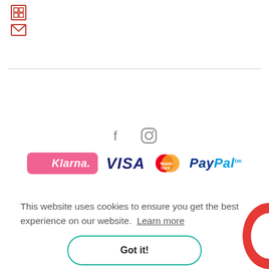[Figure (logo): Two small red outlined icons top-left: a window/document icon and an envelope icon]
[Figure (logo): Social media icons: Facebook (f) and Instagram camera icon, centered]
[Figure (logo): Payment method logos: Klarna (pink badge), VISA, MasterCard (overlapping red/orange circles), PayPal]
This website uses cookies to ensure you get the best experience on our website. Learn more
Got it!